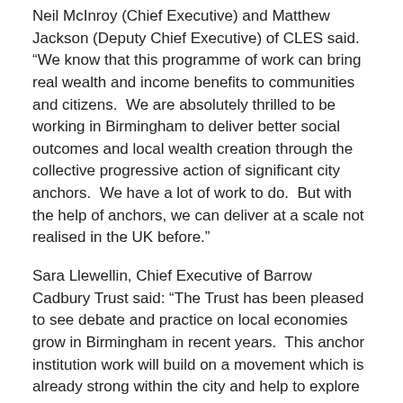Neil McInroy (Chief Executive) and Matthew Jackson (Deputy Chief Executive) of CLES said. “We know that this programme of work can bring real wealth and income benefits to communities and citizens.  We are absolutely thrilled to be working in Birmingham to deliver better social outcomes and local wealth creation through the collective progressive action of significant city anchors.  We have a lot of work to do.  But with the help of anchors, we can deliver at a scale not realised in the UK before.”
Sara Llewellin, Chief Executive of Barrow Cadbury Trust said: “The Trust has been pleased to see debate and practice on local economies grow in Birmingham in recent years.  This anchor institution work will build on a movement which is already strong within the city and help to explore how resources already flowing through the city can be better utilised for the good of all citizens.”
Notes to Editors:
(i) Centre for Local Economic Strategies (CLES) is the UK’s